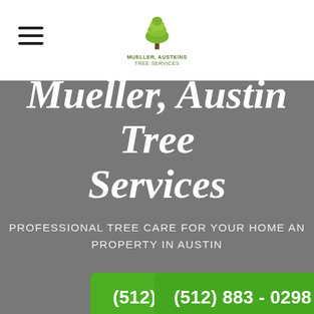Mueller Austin Tree Services — navigation header with logo
Mueller, Austin Tree Services
PROFESSIONAL TREE CARE FOR YOUR HOME AND PROPERTY IN AUSTIN
(512) 883 - 0298